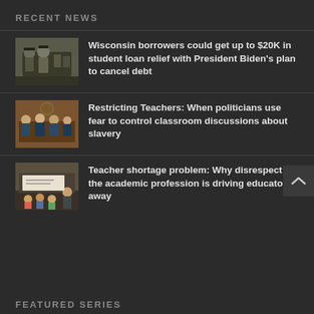RECENT NEWS
Wisconsin borrowers could get up to $20K in student loan relief with President Biden's plan to cancel debt
Restricting Teachers: When politicians use fear to control classroom discussions about slavery
Teacher shortage problem: Why disrespect of the academic profession is driving educators away
FEATURED SERIES